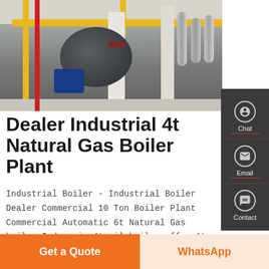[Figure (photo): Industrial boiler plant interior showing large cylindrical boiler drum, yellow overhead beams and pipes, white structural columns, blue motor unit, and insulated silver pipes on the right side]
Dealer Industrial 4t Natural Gas Boiler Plant
Industrial Boiler - Industrial Boiler Dealer Commercial 10 Ton Boiler Plant Commercial Automatic 6t Natural Gas boiler Indonesia 4t oil boiler offer 1t 2t 4t 6t 8t 10t coal fired boiler - meubelstichting.nl or natural gas.In some cases byproduct fuel such as the carbon
Get a Quote
WhatsApp